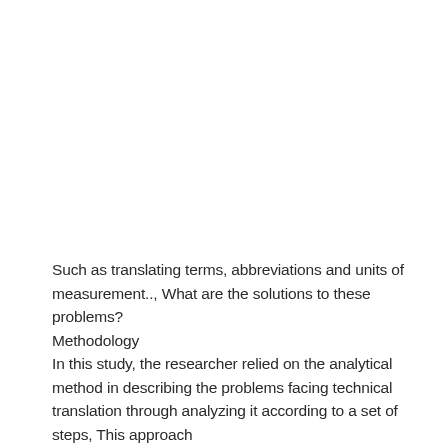Such as translating terms, abbreviations and units of measurement.., What are the solutions to these problems?
Methodology
In this study, the researcher relied on the analytical method in describing the problems facing technical translation through analyzing it according to a set of steps, This approach